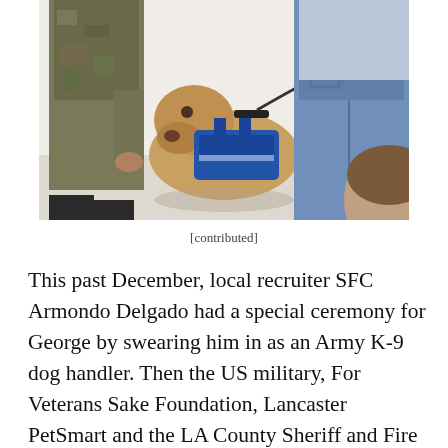[Figure (photo): A golden/tan dog wearing a blue service vest harness being greeted by people, one in military camouflage uniform and one in jeans, in an indoor setting.]
[contributed]
This past December, local recruiter SFC Armondo Delgado had a special ceremony for George by swearing him in as an Army K-9 dog handler. Then the US military, For Veterans Sake Foundation, Lancaster PetSmart and the LA County Sheriff and Fire departments rallied together to create a “suspicious package” scenario to give George his first assignment as a K-9 handler.